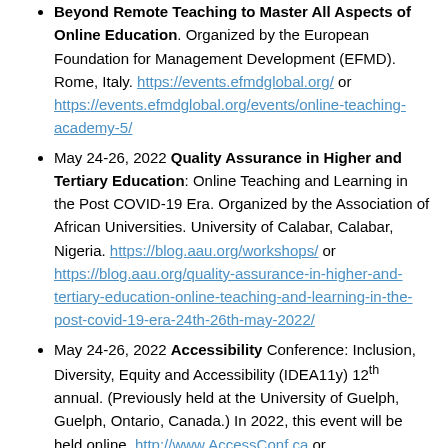Beyond Remote Teaching to Master All Aspects of Online Education. Organized by the European Foundation for Management Development (EFMD). Rome, Italy. https://events.efmdglobal.org/ or https://events.efmdglobal.org/events/online-teaching-academy-5/
May 24-26, 2022 Quality Assurance in Higher and Tertiary Education: Online Teaching and Learning in the Post COVID-19 Era. Organized by the Association of African Universities. University of Calabar, Calabar, Nigeria. https://blog.aau.org/workshops/ or https://blog.aau.org/quality-assurance-in-higher-and-tertiary-education-online-teaching-and-learning-in-the-post-covid-19-era-24th-26th-may-2022/
May 24-26, 2022 Accessibility Conference: Inclusion, Diversity, Equity and Accessibility (IDEA11y) 12th annual. (Previously held at the University of Guelph, Guelph, Ontario, Canada.) In 2022, this event will be held online. http://www.AccessConf.ca or